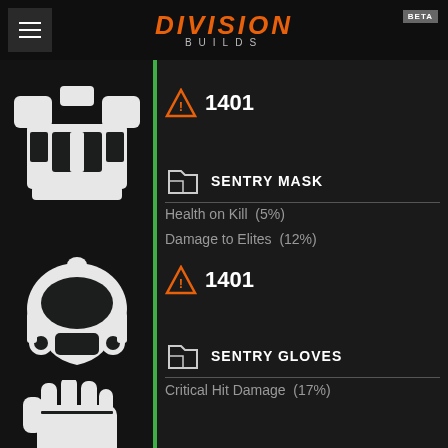DIVISION BUILDS BETA
[Figure (illustration): Torso armor equipment icon (white silhouette on dark background)]
▲ 1401
SENTRY MASK
Health on Kill  (5%)
Damage to Elites  (12%)
[Figure (illustration): Gas mask / head armor equipment icon (white silhouette on dark background)]
▲ 1401
SENTRY GLOVES
Critical Hit Damage  (17%)
[Figure (illustration): Gloves equipment icon (white silhouette on dark background)]